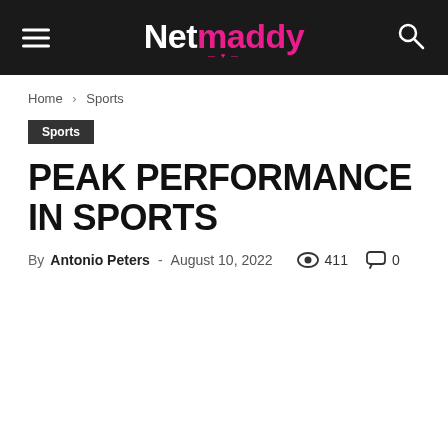Netmaddy
Home › Sports
Sports
PEAK PERFORMANCE IN SPORTS
By Antonio Peters - August 10, 2022  411  0